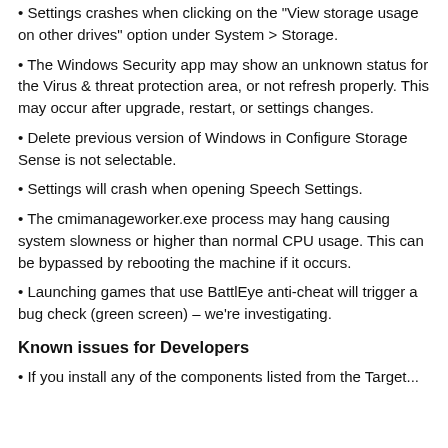• Settings crashes when clicking on the "View storage usage on other drives" option under System > Storage.
• The Windows Security app may show an unknown status for the Virus & threat protection area, or not refresh properly. This may occur after upgrade, restart, or settings changes.
• Delete previous version of Windows in Configure Storage Sense is not selectable.
• Settings will crash when opening Speech Settings.
• The cmimanageworker.exe process may hang causing system slowness or higher than normal CPU usage. This can be bypassed by rebooting the machine if it occurs.
• Launching games that use BattlEye anti-cheat will trigger a bug check (green screen) – we're investigating.
Known issues for Developers
• If you install any of the components listed from the Target...